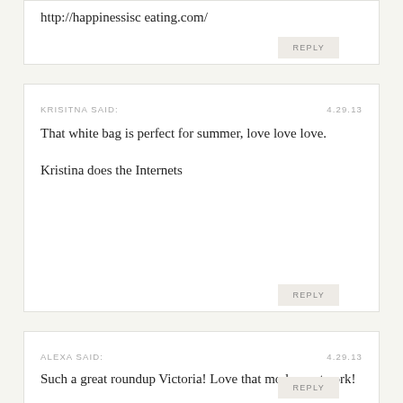http://happinessisc eating.com/
REPLY
KRISITNA SAID:
4.29.13
That white bag is perfect for summer, love love love.

Kristina does the Internets
REPLY
ALEXA SAID:
4.29.13
Such a great roundup Victoria! Love that modern artwork!
REPLY